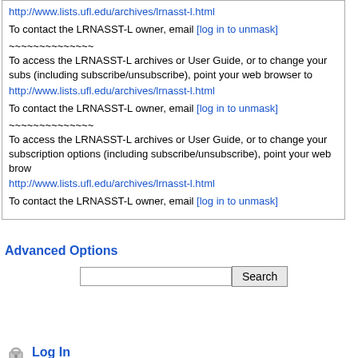http://www.lists.ufl.edu/archives/lrnasst-l.html
To contact the LRNASST-L owner, email [log in to unmask]
~~~~~~~~~~~~~~
To access the LRNASST-L archives or User Guide, or to change your subscription options (including subscribe/unsubscribe), point your web browser to http://www.lists.ufl.edu/archives/lrnasst-l.html
To contact the LRNASST-L owner, email [log in to unmask]
~~~~~~~~~~~~~~
To access the LRNASST-L archives or User Guide, or to change your subscription options (including subscribe/unsubscribe), point your web browser to http://www.lists.ufl.edu/archives/lrnasst-l.html
To contact the LRNASST-L owner, email [log in to unmask]
Advanced Options
Search (input field and button)
Log In
Get Password